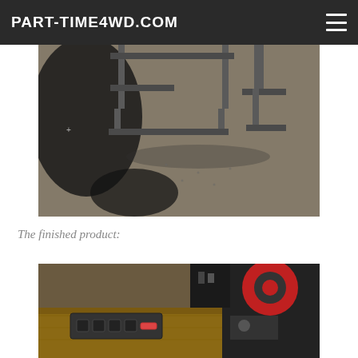PART-TIME4WD.COM
[Figure (photo): Outdoor photo of a metal frame/rack structure on a gravel or asphalt surface, with shadows visible on the ground]
The finished product:
[Figure (photo): Indoor workshop photo showing what appears to be a panel with multiple buttons/switches mounted on a wooden surface, with red machinery/equipment visible in the background]